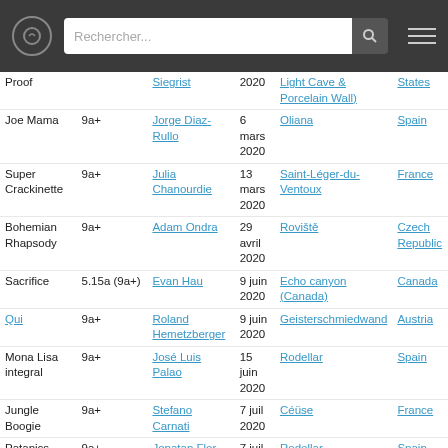Rechercher...
| Route | Grade | Climber | Date | Location | Country |
| --- | --- | --- | --- | --- | --- |
| Proof |  | Siegrist | 2020 | Light Cave & Porcelain Wall) | States |
| Joe Mama | 9a+ | Jorge Diaz-Rullo | 6 mars 2020 | Oliana | Spain |
| Super Crackinette | 9a+ | Julia Chanourdie | 13 mars 2020 | Saint-Léger-du-Ventoux | France |
| Bohemian Rhapsody | 9a+ | Adam Ondra | 29 avril 2020 | Roviště | Czech Republic |
| Sacrifice | 5.15a (9a+) | Evan Hau | 9 juin 2020 | Echo canyon (Canada) | Canada |
| Qui | 9a+ | Roland Hemetzberger | 9 juin 2020 | Geisterschmiedwand | Austria |
| Mona Lisa integral | 9a+ | José Luis Palao | 15 juin 2020 | Rodellar | Spain |
| Jungle Boogie | 9a+ | Stefano Carnati | 7 juil 2020 | Céüse | France |
| Patanics | 9a+ | Jonatan Flor | 7 juil | Rodellar | Spain |